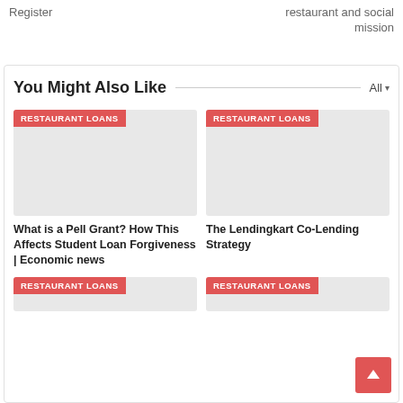Register
restaurant and social mission
You Might Also Like
[Figure (other): Gray placeholder image with RESTAURANT LOANS red tag overlay]
What is a Pell Grant? How This Affects Student Loan Forgiveness | Economic news
[Figure (other): Gray placeholder image with RESTAURANT LOANS red tag overlay]
The Lendingkart Co-Lending Strategy
[Figure (other): Gray placeholder image with RESTAURANT LOANS red tag overlay - bottom left]
[Figure (other): Gray placeholder image with RESTAURANT LOANS red tag overlay - bottom right]